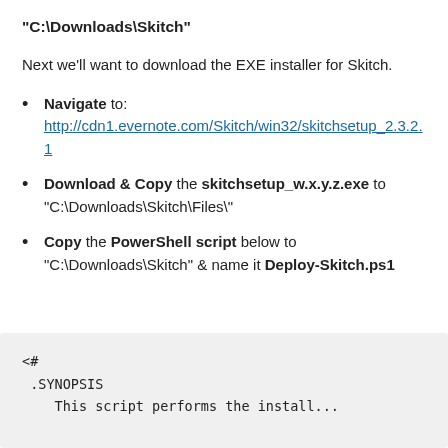"C:\Downloads\Skitch"
Next we'll want to download the EXE installer for Skitch.
Navigate to: http://cdn1.evernote.com/Skitch/win32/skitchsetup_2.3.2.1
Download & Copy the skitchsetup_w.x.y.z.exe to "C:\Downloads\Skitch\Files\"
Copy the PowerShell script below to "C:\Downloads\Skitch" & name it Deploy-Skitch.ps1
<#
.SYNOPSIS
    This script performs the installation...